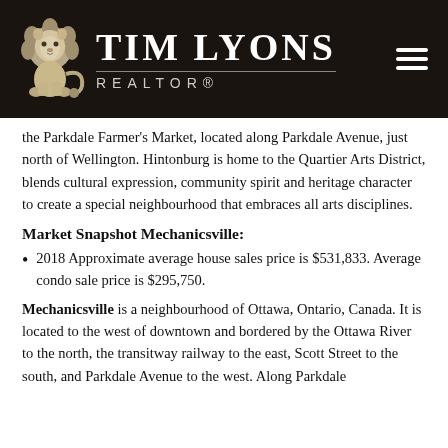[Figure (logo): Tim Lyons Realtor logo with lion graphic on dark background, hamburger menu icon on right]
the Parkdale Farmer's Market, located along Parkdale Avenue, just north of Wellington. Hintonburg is home to the Quartier Arts District, blends cultural expression, community spirit and heritage character to create a special neighbourhood that embraces all arts disciplines.
Market Snapshot Mechanicsville:
2018 Approximate average house sales price is $531,833. Average condo sale price is $295,750.
Mechanicsville is a neighbourhood of Ottawa, Ontario, Canada. It is located to the west of downtown and bordered by the Ottawa River to the north, the transitway railway to the east, Scott Street to the south, and Parkdale Avenue to the west. Along Parkdale Avenue, there are a number...